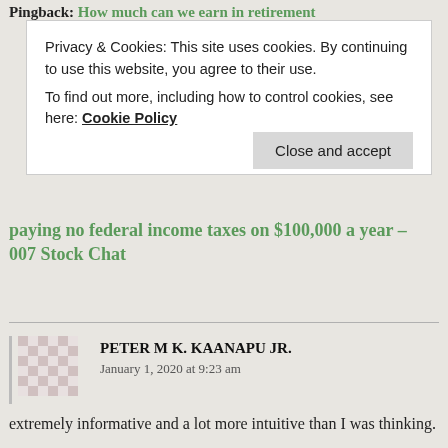Pingback: How much can we earn in retirement
Privacy & Cookies: This site uses cookies. By continuing to use this website, you agree to their use. To find out more, including how to control cookies, see here: Cookie Policy
Close and accept
paying no federal income taxes on $100,000 a year – 007 Stock Chat
PETER M K. KAANAPU JR.
January 1, 2020 at 9:23 am
extremely informative and a lot more intuitive than I was thinking.
Liked by 1 person
Reply